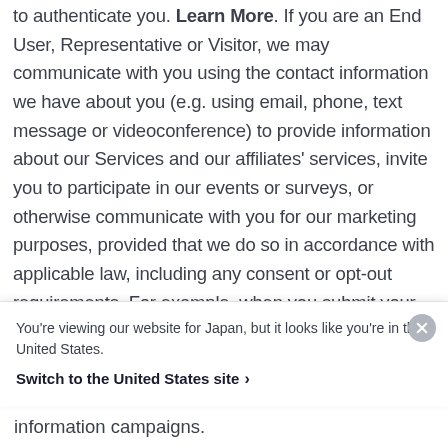to authenticate you. Learn More. If you are an End User, Representative or Visitor, we may communicate with you using the contact information we have about you (e.g. using email, phone, text message or videoconference) to provide information about our Services and our affiliates' services, invite you to participate in our events or surveys, or otherwise communicate with you for our marketing purposes, provided that we do so in accordance with applicable law, including any consent or opt-out requirements. For example, when you submit your contact information to us or when we collect your business contact details through our participation at trade shows or other
You're viewing our website for Japan, but it looks like you're in the United States.
Switch to the United States site ›
information campaigns.